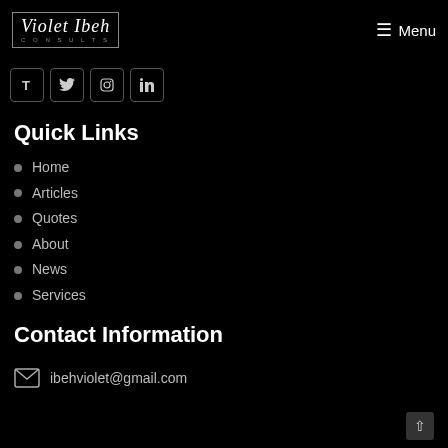Violet Ibeh Consults — Menu
[Figure (logo): Violet Ibeh Consults logo in a rectangle border with script font text and 'CONSULTS' below]
[Figure (infographic): Row of four social media icon buttons: T (Tumblr), Twitter bird, Instagram, LinkedIn]
Quick Links
Home
Articles
Quotes
About
News
Services
Contact Information
ibehviolet@gmail.com